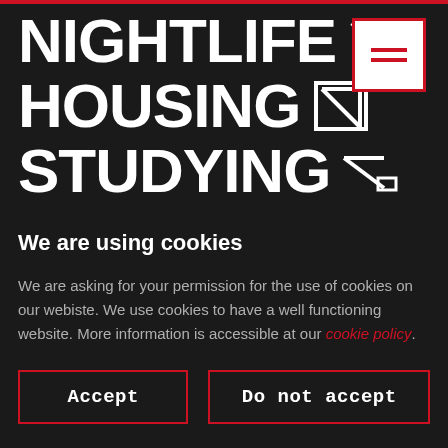NIGHTLIFE HOUSING STUDYING
We are using cookies
We are asking for your permission for the use of cookies on our webiste. We use cookies to have a well functioning website. More information is accessible at our cookie policy.
Accept
Do not accept